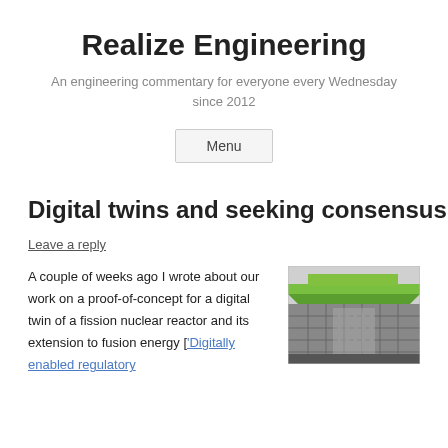Realize Engineering
An engineering commentary for everyone every Wednesday since 2012
Menu
Digital twins and seeking consensus
Leave a reply
A couple of weeks ago I wrote about our work on a proof-of-concept for a digital twin of a fission nuclear reactor and its extension to fusion energy ['Digitally enabled regulatory...
[Figure (illustration): 3D illustration of a nuclear reactor facility showing a green roof section with underground cross-section revealing internal grid/fuel rod structure]